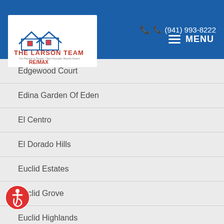Login / Register  (941) 993-8222  MENU
[Figure (logo): The Larson Team RE/MAX Anchor Realty logo with house illustration]
Edgewood Court
Edina Garden Of Eden
El Centro
El Dorado Hills
Euclid Estates
Euclid Grove
Euclid Highlands
Euclid Manor
Euclid Park